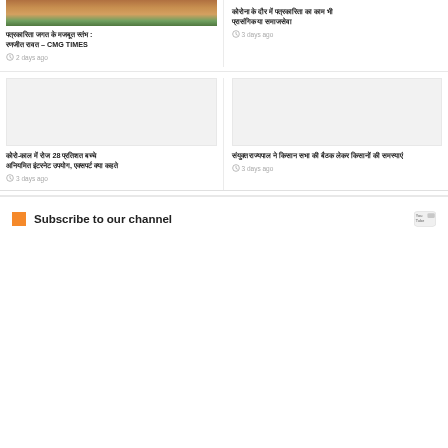[Figure (photo): Top partial image showing people, cropped at top of page]
पत्रकारिता जगत के मजबूत स्तंभ : रणजीत रावत – CMG TIMES
2 days ago
कोरोना के दौर में पत्रकारिता का काम भी प्रासंगिक या समाजसेवा
3 days ago
[Figure (photo): Gray placeholder image box left column second row]
कोरो-काल में रोज 28 प्रतिशत बच्चे अनियमित इंटरनेट उपयोग, एक्सपर्ट क्या कहते
3 days ago
[Figure (photo): Gray placeholder image box right column second row]
संयुक्त राज्यपाल ने किसान सभा की बैठक लेकर किसानों की समस्याएं
3 days ago
Subscribe to our channel